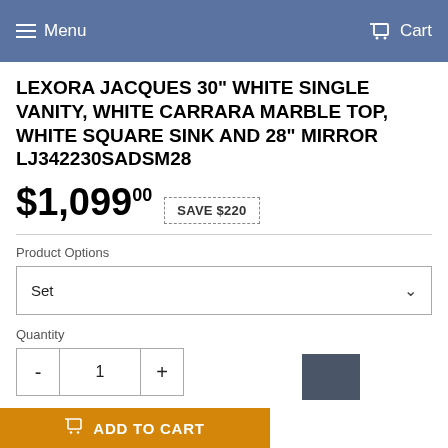Menu  Cart
LEXORA JACQUES 30" WHITE SINGLE VANITY, WHITE CARRARA MARBLE TOP, WHITE SQUARE SINK AND 28" MIRROR LJ342230SADSM28
$1,099.00  SAVE $220
Product Options
Set
Quantity
- 1 +
ADD TO CART